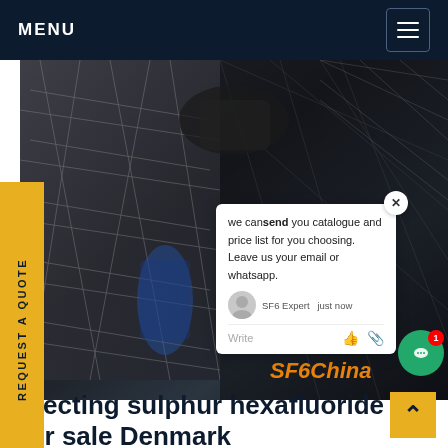MENU
[Figure (photo): Industrial electrical equipment photo with scaffolding/lattice structures, machinery, and cables in a dark environment. A chat popup overlay shows: 'we can send you catalogue and price list for you choosing. Leave us your email or whatsapp.' with SF6 Expert, just now, and a Write input row. SF6China watermark in orange italic. Green chat button with red badge showing 1.]
etecting sulphur hexafluoride for sale Denmark